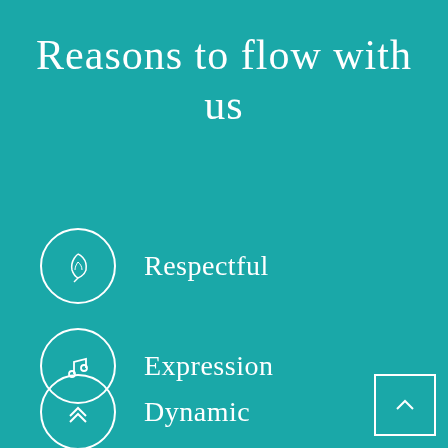Reasons to flow with us
Respectful
Expression
Dynamic